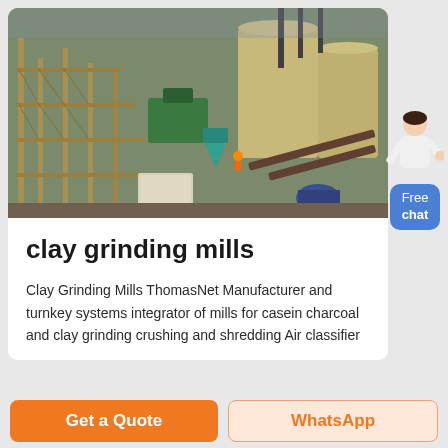[Figure (photo): Aerial/overhead view of an industrial facility with yellow scaffolding, large storage tanks, conveyor belts, and mining/processing equipment.]
clay grinding mills
Clay Grinding Mills ThomasNet Manufacturer and turnkey systems integrator of mills for casein charcoal and clay grinding crushing and shredding Air classifier
Get a Quote
WhatsApp